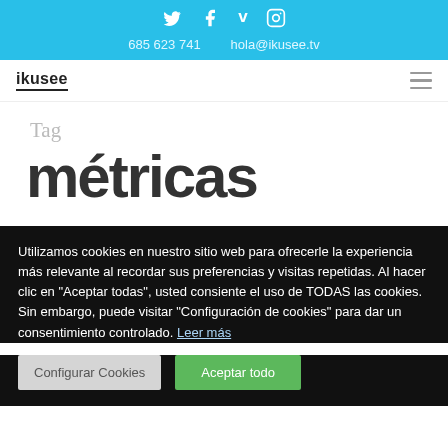Social icons: Twitter, Facebook, Vimeo, Instagram | 685 623 741 | hola@ikusee.tv
[Figure (logo): ikusee logo text in bold with underline, and hamburger menu icon on the right]
Tag
métricas
Utilizamos cookies en nuestro sitio web para ofrecerle la experiencia más relevante al recordar sus preferencias y visitas repetidas. Al hacer clic en "Aceptar todas", usted consiente el uso de TODAS las cookies. Sin embargo, puede visitar "Configuración de cookies" para dar un consentimiento controlado. Leer más
Configurar Cookies
Aceptar todo